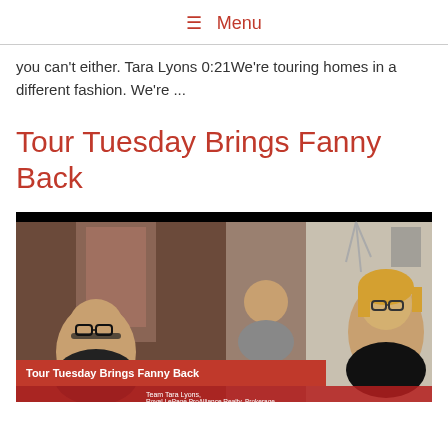≡ Menu
you can't either. Tara Lyons 0:21We're touring homes in a different fashion. We're ...
Tour Tuesday Brings Fanny Back
[Figure (photo): Video thumbnail showing three people smiling in a home setting, with a red banner overlay reading 'Tour Tuesday Brings Fanny Back' and a sub-banner reading 'Team Tara Lyons, Royal LePage ProAlliance Realty, Brokerage']